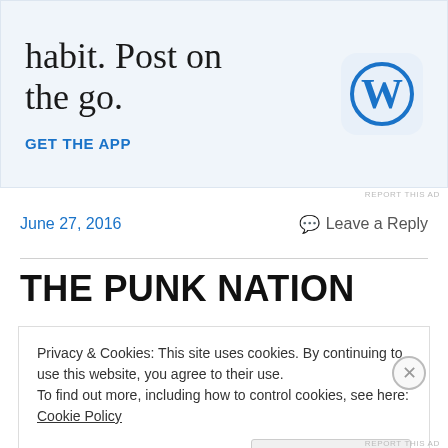[Figure (screenshot): WordPress app advertisement banner with text 'habit. Post on the go.' and 'GET THE APP' link with WordPress logo icon]
REPORT THIS AD
June 27, 2016
Leave a Reply
THE PUNK NATION
Privacy & Cookies: This site uses cookies. By continuing to use this website, you agree to their use.
To find out more, including how to control cookies, see here: Cookie Policy
Close and accept
REPORT THIS AD